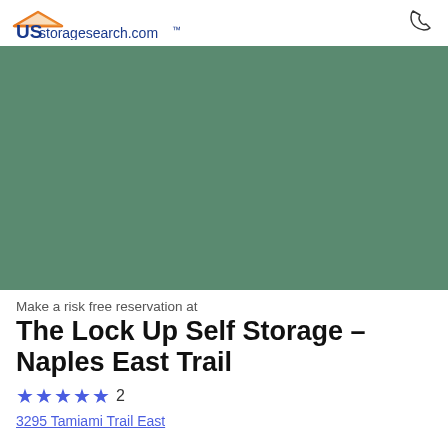USstoragesearch.com
[Figure (photo): Aerial/drone photo of The Lock Up Self Storage - Naples East Trail facility, a large two-story beige commercial building with teal windows, blue diamond accents, a brown roof section at center entry, parking lot with a branded van, palm trees and a lake in the background.]
Make a risk free reservation at
The Lock Up Self Storage – Naples East Trail
★★★★★ 2
3295 Tamiami Trail East